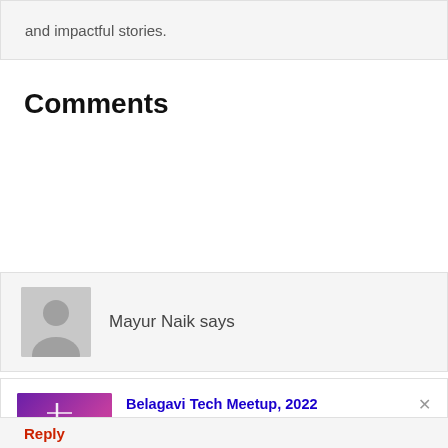and impactful stories.
Comments
Mayur Naik says
[Figure (infographic): Notification card for Belagavi Tech Meetup 2022 with purple/pink gradient image, title in blue, description text, and UXgrowth source in red]
Reply